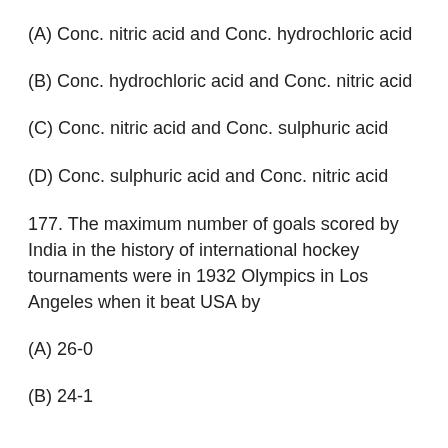(A) Conc. nitric acid and Conc. hydrochloric acid
(B) Conc. hydrochloric acid and Conc. nitric acid
(C) Conc. nitric acid and Conc. sulphuric acid
(D) Conc. sulphuric acid and Conc. nitric acid
177. The maximum number of goals scored by India in the history of international hockey tournaments were in 1932 Olympics in Los Angeles when it beat USA by
(A) 26-0
(B) 24-1